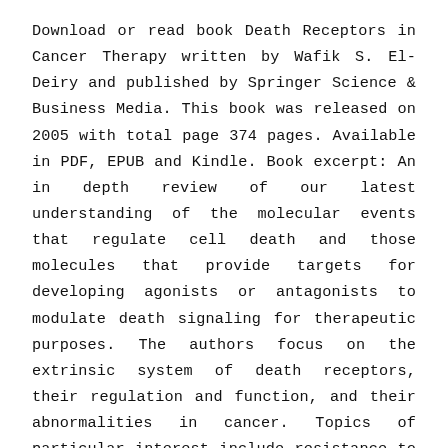Download or read book Death Receptors in Cancer Therapy written by Wafik S. El-Deiry and published by Springer Science & Business Media. This book was released on 2005 with total page 374 pages. Available in PDF, EPUB and Kindle. Book excerpt: An in depth review of our latest understanding of the molecular events that regulate cell death and those molecules that provide targets for developing agonists or antagonists to modulate death signaling for therapeutic purposes. The authors focus on the extrinsic system of death receptors, their regulation and function, and their abnormalities in cancer. Topics of particular interest include resistance to apoptosis, TRAIL signaling, death receptors in embryonic development, mechanisms of caspase activation, and death receptor mutations in cancer. Additional chapters address death signaling in melanoma,